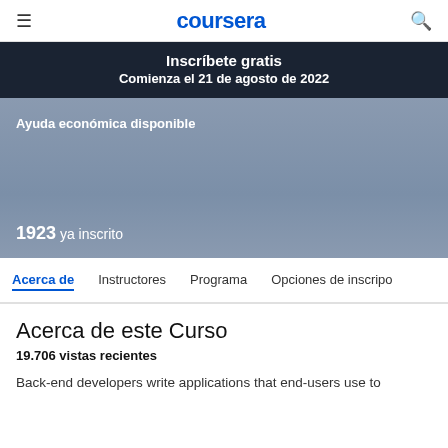coursera
Inscríbete gratis
Comienza el 21 de agosto de 2022
Ayuda económica disponible
1923 ya inscrito
Acerca de  Instructores  Programa  Opciones de inscripción
Acerca de este Curso
19.706 vistas recientes
Back-end developers write applications that end-users use to